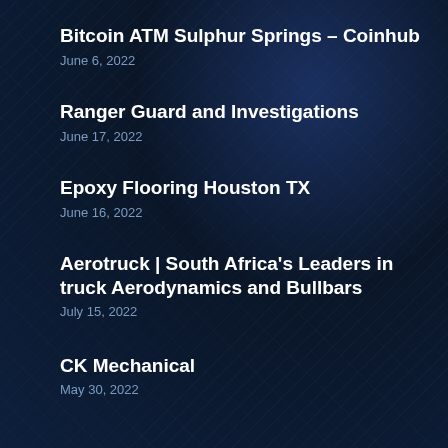Bitcoin ATM Sulphur Springs – Coinhub
June 6, 2022
Ranger Guard and Investigations
June 17, 2022
Epoxy Flooring Houston TX
June 16, 2022
Aerotruck | South Africa's Leaders in truck Aerodynamics and Bullbars
July 15, 2022
CK Mechanical
May 30, 2022